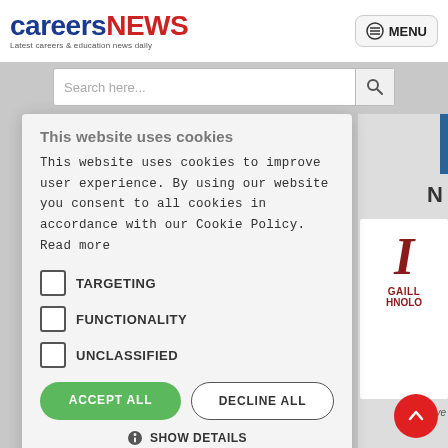careersNEWS - Latest careers & education news daily
Search here...
This website uses cookies
This website uses cookies to improve user experience. By using our website you consent to all cookies in accordance with our Cookie Policy. Read more
TARGETING
FUNCTIONALITY
UNCLASSIFIED
ACCEPT ALL
DECLINE ALL
SHOW DETAILS
POWERED BY COOKIE-SCRIPT